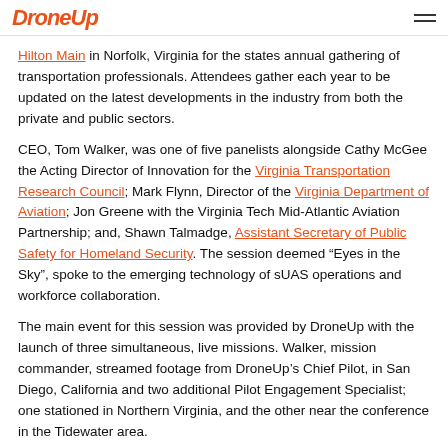DroneUp
Hilton Main in Norfolk, Virginia for the states annual gathering of transportation professionals. Attendees gather each year to be updated on the latest developments in the industry from both the private and public sectors.
CEO, Tom Walker, was one of five panelists alongside Cathy McGee the Acting Director of Innovation for the Virginia Transportation Research Council; Mark Flynn, Director of the Virginia Department of Aviation; Jon Greene with the Virginia Tech Mid-Atlantic Aviation Partnership; and, Shawn Talmadge, Assistant Secretary of Public Safety for Homeland Security. The session deemed “Eyes in the Sky”, spoke to the emerging technology of sUAS operations and workforce collaboration.
The main event for this session was provided by DroneUp with the launch of three simultaneous, live missions. Walker, mission commander, streamed footage from DroneUp’s Chief Pilot, in San Diego, California and two additional Pilot Engagement Specialist; one stationed in Northern Virginia, and the other near the conference in the Tidewater area.
The missions were displayed on the ballrooms’ main monitors, as Walker explained utilizing DroneSenses’ live-stream OpsCenter to